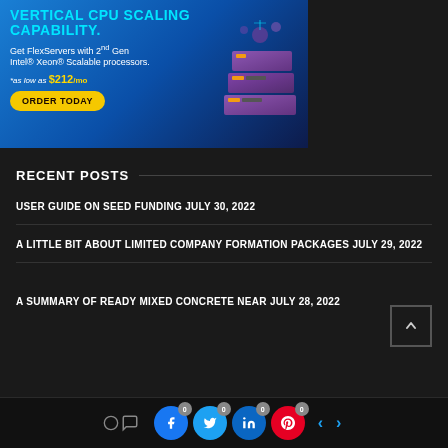[Figure (infographic): Advertisement banner for FlexServers with 2nd Gen Intel Xeon Scalable processors. Blue gradient background with purple 3D server stack graphic. Title: VERTICAL CPU SCALING CAPABILITY. Subtitle: Get FlexServers with 2nd Gen Intel Xeon Scalable processors. Price: *as low as $212/mo. Button: ORDER TODAY]
RECENT POSTS
USER GUIDE ON SEED FUNDING JULY 30, 2022
A LITTLE BIT ABOUT LIMITED COMPANY FORMATION PACKAGES JULY 29, 2022
A SUMMARY OF READY MIXED CONCRETE NEAR JULY 28, 2022
0 0 0 social share buttons: Facebook, Twitter, LinkedIn, Pinterest